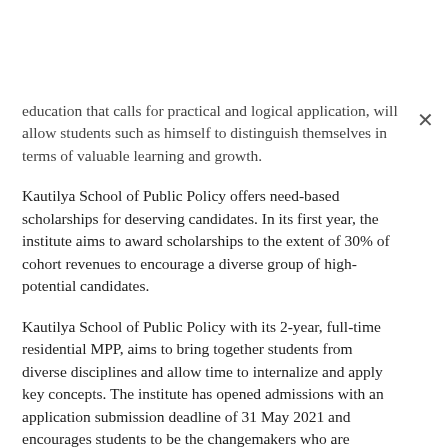education that calls for practical and logical application, will allow students such as himself to distinguish themselves in terms of valuable learning and growth.
Kautilya School of Public Policy offers need-based scholarships for deserving candidates. In its first year, the institute aims to award scholarships to the extent of 30% of cohort revenues to encourage a diverse group of high-potential candidates.
Kautilya School of Public Policy with its 2-year, full-time residential MPP, aims to bring together students from diverse disciplines and allow time to internalize and apply key concepts. The institute has opened admissions with an application submission deadline of 31 May 2021 and encourages students to be the changemakers who are passionate about shaping India for the better.
Application link: https://apply.kautilya.org.in/